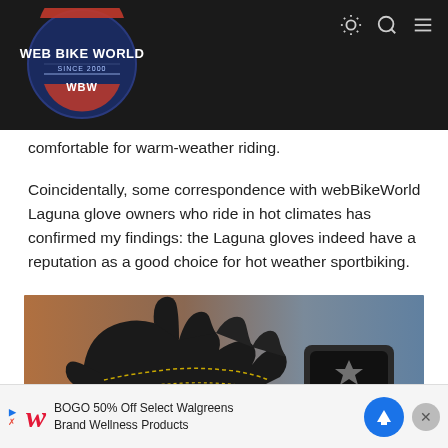[Figure (logo): Web Bike World logo — dark circular badge with 'WEB BIKE WORLD SINCE 2000 WBW' text on navy/dark background with orange accent]
comfortable for warm-weather riding.
Coincidentally, some correspondence with webBikeWorld Laguna glove owners who ride in hot climates has confirmed my findings: the Laguna gloves indeed have a reputation as a good choice for hot weather sportbiking.
[Figure (photo): Black leather motorcycle glove with yellow stitching and Alpinestars-style branding on knuckle protector, shown against a blue-orange blurred background]
[Figure (screenshot): Advertisement banner: Walgreens BOGO 50% Off Select Walgreens Brand Wellness Products with blue navigation icon and close button]